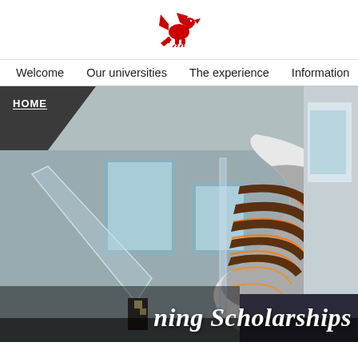[Figure (logo): Red Welsh dragon logo/crest on white background]
Welcome   Our universities   The experience   Information   S
[Figure (photo): Interior architectural photo of a university building showing a modern spiral staircase with orange LED lighting on the treads and glass balustrades, multi-storey atrium with large windows]
HOME
ning Scholarships